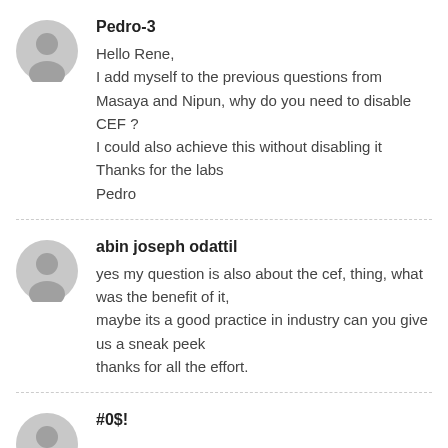[Figure (illustration): Gray user avatar icon for Pedro-3]
Pedro-3
Hello Rene,
I add myself to the previous questions from Masaya and Nipun, why do you need to disable CEF ?
I could also achieve this without disabling it
Thanks for the labs
Pedro
[Figure (illustration): Gray user avatar icon for abin joseph odattil]
abin joseph odattil
yes my question is also about the cef, thing, what was the benefit of it,
maybe its a good practice in industry can you give us a sneak peek
thanks for all the effort.
[Figure (illustration): Gray user avatar icon for #0$!]
#0$!